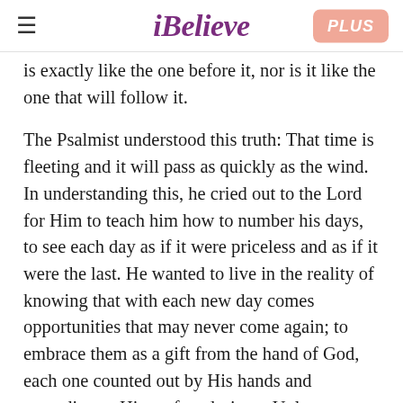iBelieve | PLUS
is exactly like the one before it, nor is it like the one that will follow it.
The Psalmist understood this truth: That time is fleeting and it will pass as quickly as the wind. In understanding this, he cried out to the Lord for Him to teach him how to number his days, to see each day as if it were priceless and as if it were the last. He wanted to live in the reality of knowing that with each new day comes opportunities that may never come again; to embrace them as a gift from the hand of God, each one counted out by His hands and according to His perfect design. Unless we live intentionally, we will waste our lives away. Recognize as the Psalmist did, the need for God's